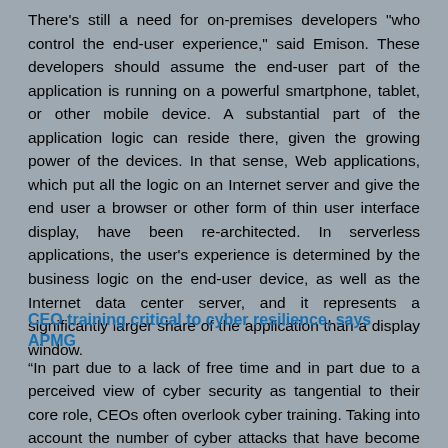There's still a need for on-premises developers "who control the end-user experience," said Emison. These developers should assume the end-user part of the application is running on a powerful smartphone, tablet, or other mobile device. A substantial part of the application logic can reside there, given the growing power of the devices. In that sense, Web applications, which put all the logic on an Internet server and give the end user a browser or other form of thin user interface display, have been re-architected. In serverless applications, the user's experience is determined by the business logic on the end-user device, as well as the Internet data center server, and it represents a significantly larger share of the application than a display window.
CEO training critical to cyber resilience, says APMG
“In part due to a lack of free time and in part due to a perceived view of cyber security as tangential to their core role, CEOs often overlook cyber training. Taking into account the number of cyber attacks that have become public in the past 12 months or so, any large organisation must view a breach as inevitable. “To deal with the range of threats faced